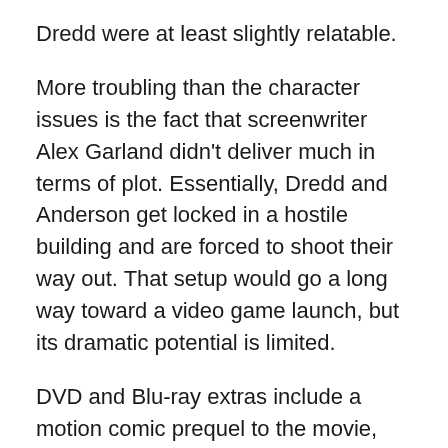Dredd were at least slightly relatable.
More troubling than the character issues is the fact that screenwriter Alex Garland didn't deliver much in terms of plot. Essentially, Dredd and Anderson get locked in a hostile building and are forced to shoot their way out. That setup would go a long way toward a video game launch, but its dramatic potential is limited.
DVD and Blu-ray extras include a motion comic prequel to the movie, several featurettes on the making of the film and a short on the history of Judge Dredd.
House at the End of the Street